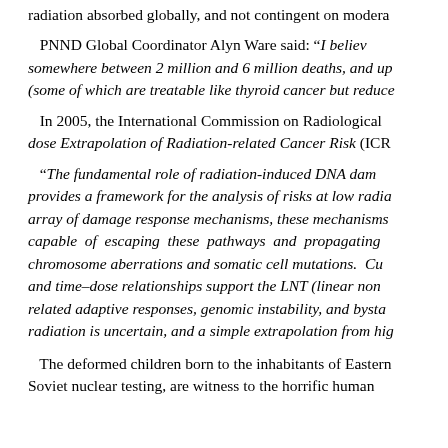radiation absorbed globally, and not contingent on modera
PNND Global Coordinator Alyn Ware said: “I believe somewhere between 2 million and 6 million deaths, and up (some of which are treatable like thyroid cancer but reduce
In 2005, the International Commission on Radiological dose Extrapolation of Radiation-related Cancer Risk (ICR
“The fundamental role of radiation-induced DNA dam provides a framework for the analysis of risks at low radia array of damage response mechanisms, these mechanisms capable of escaping these pathways and propagating chromosome aberrations and somatic cell mutations. Cu and time–dose relationships support the LNT (linear non related adaptive responses, genomic instability, and bysta radiation is uncertain, and a simple extrapolation from hig
The deformed children born to the inhabitants of Eastern Soviet nuclear testing, are witness to the horrific human